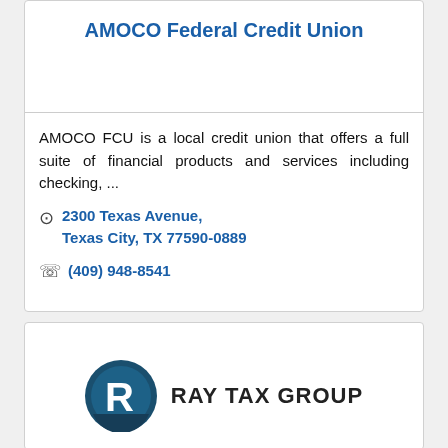AMOCO Federal Credit Union
AMOCO FCU is a local credit union that offers a full suite of financial products and services including checking, ...
2300 Texas Avenue, Texas City, TX 77590-0889
(409) 948-8541
[Figure (logo): Ray Tax Group logo with circular R emblem and company name text]